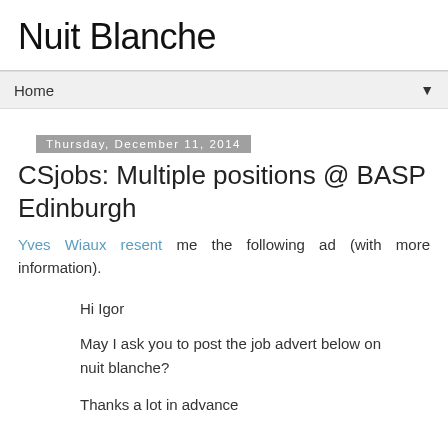Nuit Blanche
Home
Thursday, December 11, 2014
CSjobs: Multiple positions @ BASP Edinburgh
Yves Wiaux resent me the following ad (with more information).
Hi Igor
May I ask you to post the job advert below on nuit blanche?
Thanks a lot in advance